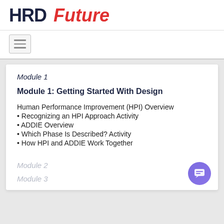HRD Future
Module 1
Module 1: Getting Started With Design
Human Performance Improvement (HPI) Overview
Recognizing an HPI Approach Activity
ADDIE Overview
Which Phase Is Described? Activity
How HPI and ADDIE Work Together
Module 2
Module 3